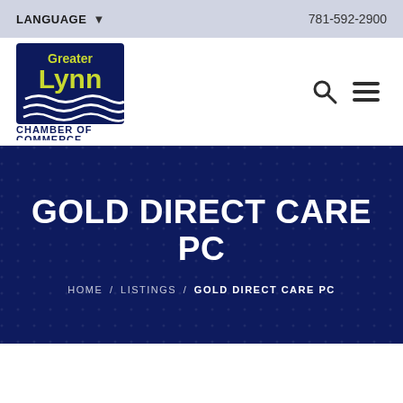LANGUAGE  781-592-2900
[Figure (logo): Greater Lynn Chamber of Commerce logo — dark blue square with yellow-green 'Greater Lynn' text and white wave design, with 'CHAMBER OF COMMERCE' text below in dark blue]
GOLD DIRECT CARE PC
HOME / LISTINGS / GOLD DIRECT CARE PC